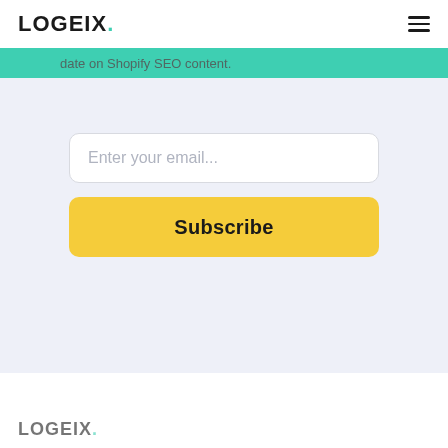LOGEIX.
date on Shopify SEO content.
[Figure (screenshot): Email input field with placeholder text 'Enter your email...' and a yellow Subscribe button below it, on a light blue-grey background]
LOGEIX.